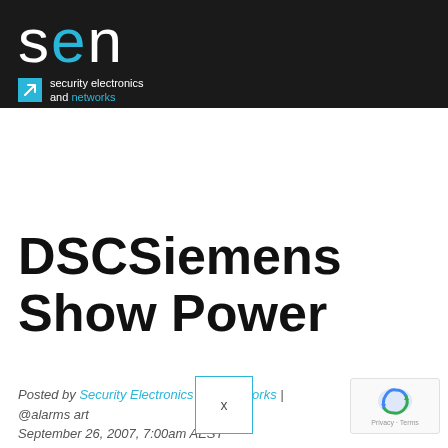[Figure (logo): SEN (Security Electronics and Networks) logo on dark background. Large white lowercase letters 's', 'e' (in cyan/blue), 'n'. Below: cyan arrow icon square and white text 'security electronics and networks' with 'networks' in cyan.]
DSCSiemens Show Power
Posted by Security Electronics and Networks | @alarms art September 26, 2007, 7:00am AEST